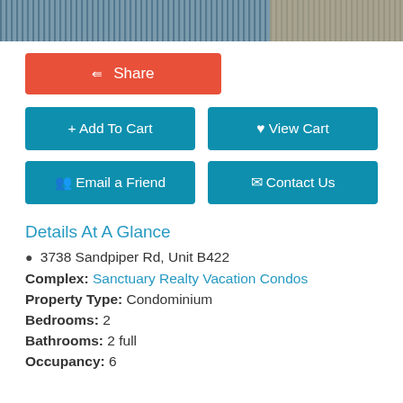[Figure (photo): Top portion of a room photo showing striped textile/fabric and a beige surface, cropped at top of page]
Share
+ Add To Cart
♥ View Cart
Email a Friend
Contact Us
Details At A Glance
3738 Sandpiper Rd, Unit B422
Complex: Sanctuary Realty Vacation Condos
Property Type: Condominium
Bedrooms: 2
Bathrooms: 2 full
Occupancy: 6